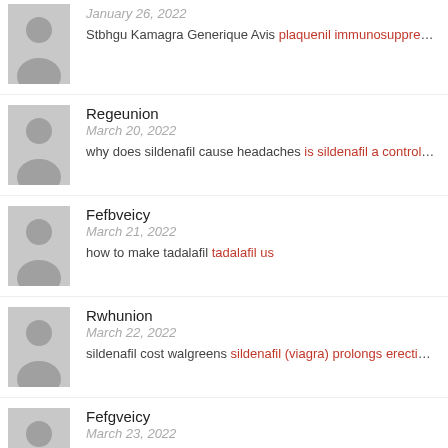January 26, 2022
Stbhgu Kamagra Generique Avis plaquenil immunosuppression
Regeunion
March 20, 2022
why does sildenafil cause headaches is sildenafil a controlled su
Fefbveicy
March 21, 2022
how to make tadalafil tadalafil us
Rwhunion
March 22, 2022
sildenafil cost walgreens sildenafil (viagra) prolongs erection by
Fefgveicy
March 23, 2022
shemane research tadalafil usa peptides tadalafil